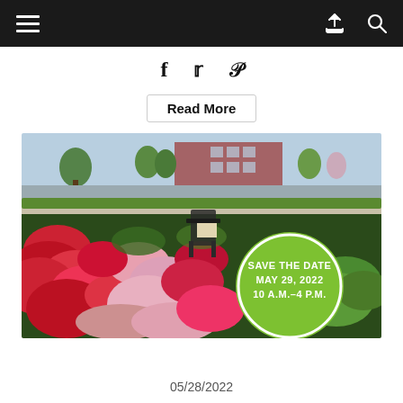Navigation bar with hamburger menu, share icon, and search icon
f  𝕥  𝕡
Read More
[Figure (photo): Outdoor flower sale with colorful flowers including red, pink blooms in the foreground, trees and a brick building in background. A green circle overlay reads: SAVE THE DATE MAY 29, 2022 10 A.M.–4 P.M.]
05/28/2022